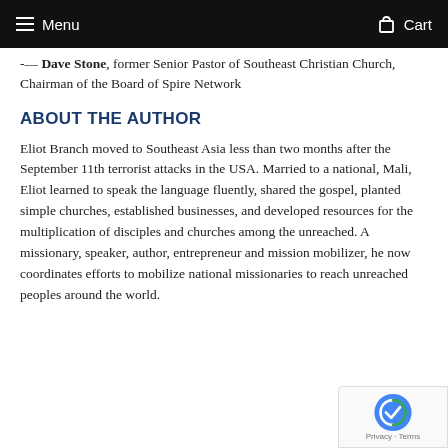Menu  Cart
-— Dave Stone, former Senior Pastor of Southeast Christian Church, Chairman of the Board of Spire Network
ABOUT THE AUTHOR
Eliot Branch moved to Southeast Asia less than two months after the September 11th terrorist attacks in the USA. Married to a national, Mali, Eliot learned to speak the language fluently, shared the gospel, planted simple churches, established businesses, and developed resources for the multiplication of disciples and churches among the unreached. A missionary, speaker, author, entrepreneur and mission mobilizer, he now coordinates efforts to mobilize national missionaries to reach unreached peoples around the world.